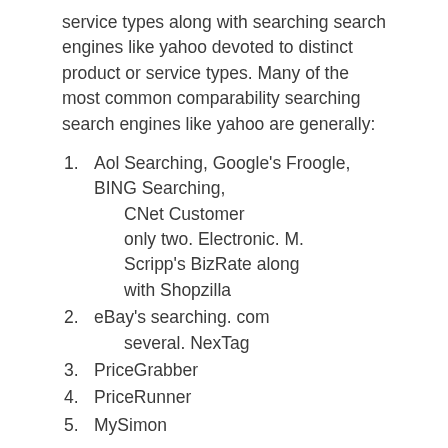service types along with searching search engines like yahoo devoted to distinct product or service types. Many of the most common comparability searching search engines like yahoo are generally:
Aol Searching, Google's Froogle, BING Searching, CNet Customer only two. Electronic. M. Scripp's BizRate along with Shopzilla
eBay's searching. com several. NexTag
PriceGrabber
PriceRunner
MySimon